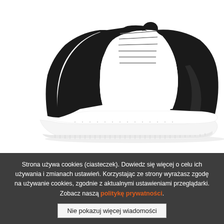[Figure (photo): Black and white women's high-top sneakers (Shelovet brand) photographed from the side on a white background. The shoe has a chunky white platform sole, white leather upper with black panels on the toe box, heel, and sides, with white laces.]
Women's high-top Shelovet black and white sneakers
24,77 USD 24,53 USD
Available in many sizes
Strona używa cookies (ciasteczek). Dowiedz się więcej o celu ich używania i zmianach ustawień. Korzystając ze strony wyrażasz zgodę na używanie cookies, zgodnie z aktualnymi ustawieniami przeglądarki. Zobacz naszą politykę prywatności.
Nie pokazuj więcej wiadomości